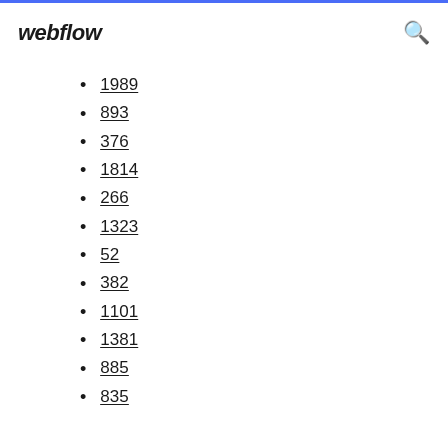webflow
1989
893
376
1814
266
1323
52
382
1101
1381
885
835